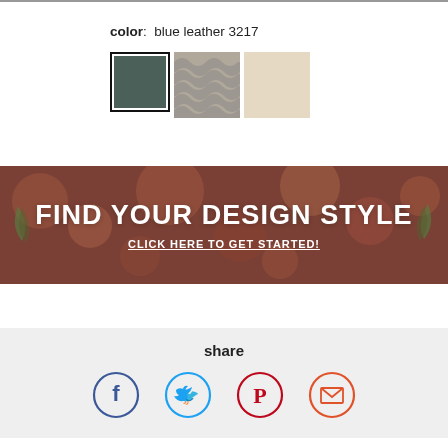color: blue leather 3217
[Figure (illustration): Three fabric/material swatches: first (selected, with black border) is a dark blue-grey leather texture, second is a grey wavy/zigzag patterned fabric, third is a plain cream/beige fabric.]
[Figure (infographic): Banner with blurred bokeh background in warm brown/maroon tones with plant leaf decorations. Text: FIND YOUR DESIGN STYLE / CLICK HERE TO GET STARTED!]
share
[Figure (infographic): Four social sharing icon circles: Facebook (blue), Twitter (light blue), Pinterest (red), Email (orange-red).]